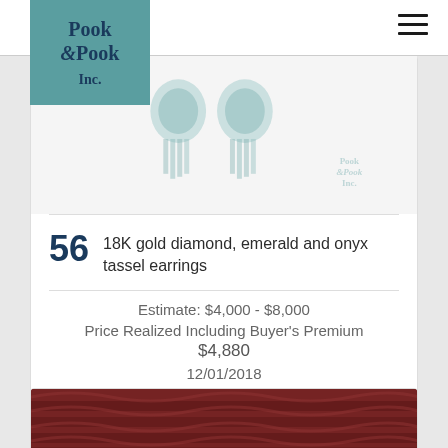[Figure (logo): Pook & Pook Inc. auction house logo in teal square]
[Figure (photo): Photo of 18K gold diamond, emerald and onyx tassel earrings with Pook & Pook watermark]
56  18K gold diamond, emerald and onyx tassel earrings
Estimate: $4,000 - $8,000
Price Realized Including Buyer's Premium
$4,880
12/01/2018
[Figure (photo): Partial photo of another auction lot showing red braided item]